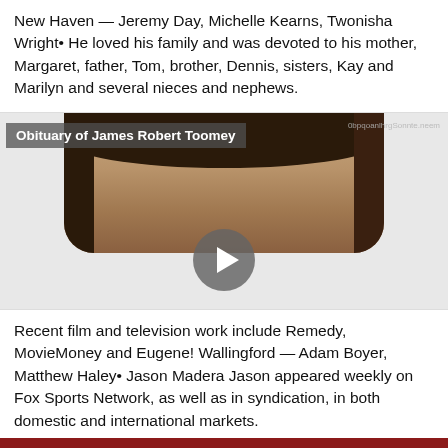New Haven — Jeremy Day, Michelle Kearns, Twonisha Wright• He loved his family and was devoted to his mother, Margaret, father, Tom, brother, Dennis, sisters, Kay and Marilyn and several nieces and nephews.
[Figure (screenshot): Video thumbnail showing a woman's face with dark hair, overlaid with a caption label reading 'Obituary of James Robert Toomey' and a watermark top-right. A circular play button is centered in the lower portion of the video frame.]
Recent film and television work include Remedy, MovieMoney and Eugene! Wallingford — Adam Boyer, Matthew Haley• Jason Madera Jason appeared weekly on Fox Sports Network, as well as in syndication, in both domestic and international markets.